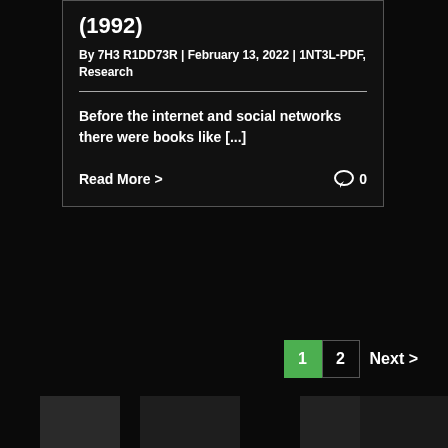(1992)
By 7H3 R1DD73R | February 13, 2022 | 1NT3L-PDF, Research
Before the internet and social networks there were books like [...]
Read More >
0
1  2  Next >